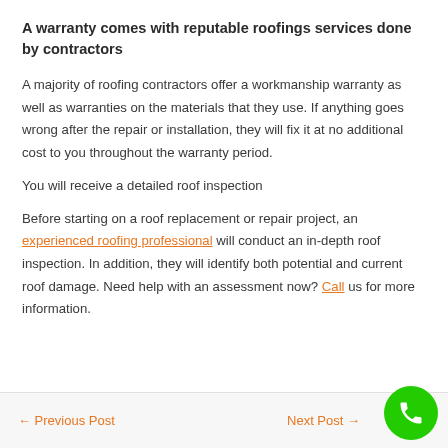A warranty comes with reputable roofings services done by contractors
A majority of roofing contractors offer a workmanship warranty as well as warranties on the materials that they use. If anything goes wrong after the repair or installation, they will fix it at no additional cost to you throughout the warranty period.
You will receive a detailed roof inspection
Before starting on a roof replacement or repair project, an experienced roofing professional will conduct an in-depth roof inspection. In addition, they will identify both potential and current roof damage. Need help with an assessment now? Call us for more information.
← Previous Post    Next Post →